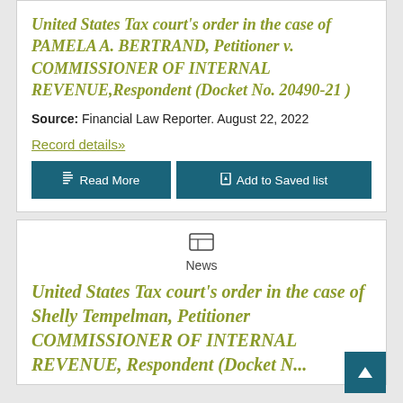United States Tax court's order in the case of PAMELA A. BERTRAND, Petitioner v. COMMISSIONER OF INTERNAL REVENUE,Respondent (Docket No. 20490-21 )
Source: Financial Law Reporter. August 22, 2022
Record details»
Read More | Add to Saved list
News
United States Tax court's order in the case of Shelly Tempelman, Petitioner COMMISSIONER OF INTERNAL REVENUE, Respondent (Docket No...